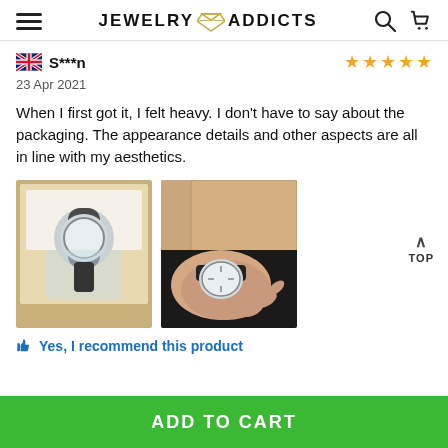JEWELRY ADDICTS
S***n — 23 Apr 2021 — 5 stars
When I first got it, I felt heavy. I don't have to say about the packaging. The appearance details and other aspects are all in line with my aesthetics.
[Figure (photo): Watch in packaging box wrapped in plastic]
[Figure (photo): Person wearing a watch while opening a cardboard box]
Yes, I recommend this product
ADD TO CART